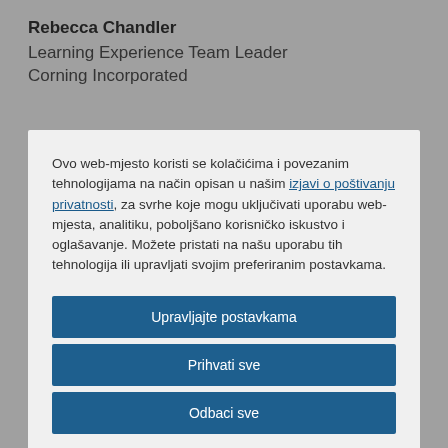Rebecca Chandler
Learning Experience Team Leader
Corning Incorporated
Ovo web-mjesto koristi se kolačićima i povezanim tehnologijama na način opisan u našim izjavi o poštivanju privatnosti, za svrhe koje mogu uključivati uporabu web-mjesta, analitiku, poboljšano korisničko iskustvo i oglašavanje. Možete pristati na našu uporabu tih tehnologija ili upravljati svojim preferiranim postavkama.
Upravljajte postavkama
Prihvati sve
Odbaci sve
Izjava o kolačićima
office and field based teams.